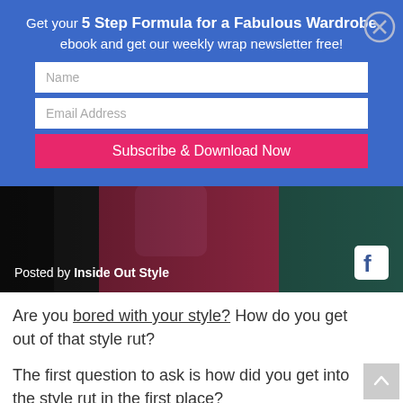Get your 5 Step Formula for a Fabulous Wardrobe ebook and get our weekly wrap newsletter free!
Name
Email Address
Subscribe & Download Now
[Figure (photo): Woman in a red/pink top, blurred background. Posted by Inside Out Style with Facebook icon.]
Are you bored with your style? How do you get out of that style rut?
The first question to ask is how did you get into the style rut in the first place?